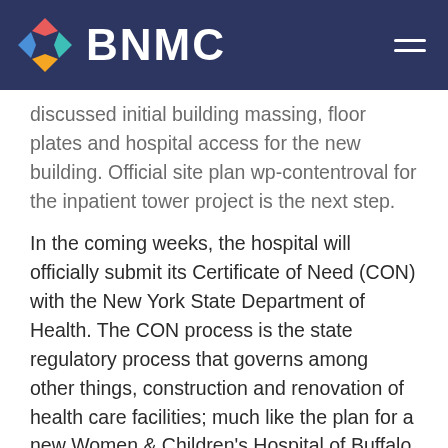BNMC
discussed initial building massing, floor plates and hospital access for the new building. Official site plan wp-contentroval for the inpatient tower project is the next step.
In the coming weeks, the hospital will officially submit its Certificate of Need (CON) with the New York State Department of Health. The CON process is the state regulatory process that governs among other things, construction and renovation of health care facilities; much like the plan for a new Women & Children's Hospital of Buffalo Hospital.